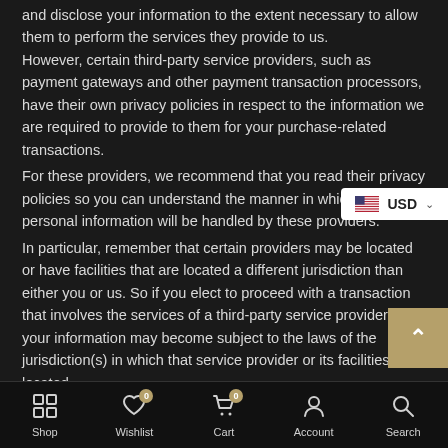and disclose your information to the extent necessary to allow them to perform the services they provide to us.
However, certain third-party service providers, such as payment gateways and other payment transaction processors, have their own privacy policies in respect to the information we are required to provide to them for your purchase-related transactions.
For these providers, we recommend that you read their privacy policies so you can understand the manner in which your personal information will be handled by these providers.
In particular, remember that certain providers may be located or have facilities that are located a different jurisdiction than either you or us. So if you elect to proceed with a transaction that involves the services of a third-party service provider, then your information may become subject to the laws of the jurisdiction(s) in which that service provider or its facilities are located.
As an example, if you are located in Canada and your transaction is processed by a payment gateway located in the United States, then
Shop  Wishlist  Cart  Account  Search